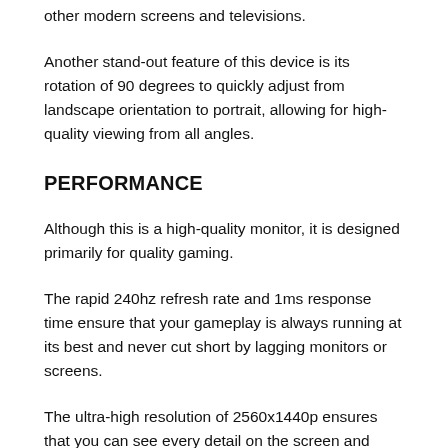other modern screens and televisions.
Another stand-out feature of this device is its rotation of 90 degrees to quickly adjust from landscape orientation to portrait, allowing for high-quality viewing from all angles.
PERFORMANCE
Although this is a high-quality monitor, it is designed primarily for quality gaming.
The rapid 240hz refresh rate and 1ms response time ensure that your gameplay is always running at its best and never cut short by lagging monitors or screens.
The ultra-high resolution of 2560x1440p ensures that you can see every detail on the screen and gives you the competitive edge in games such as Counter-Strike: Global Offensive,